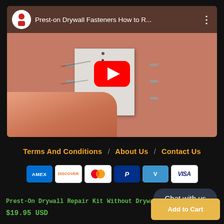[Figure (screenshot): YouTube video thumbnail showing 'Prest-on Drywall Fasteners How to R...' with a YouTube play button overlay. The video shows someone installing a drywall patch on a terracotta-colored wall with fasteners on the sides.]
Terms And Conditions / About Us / Contact Us
[Figure (other): Payment method icons: AMEX, DISCOVER, Mastercard, PayPal, Venmo, VISA]
Chat with us
Prest-On Drywall Repair Kit Without Drywall $19.95 USD
Add to Cart